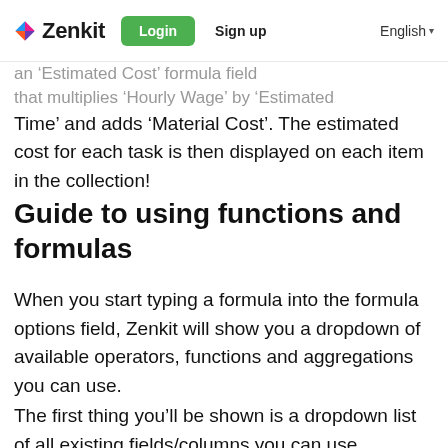Zenkit — Login | Sign up | English
Time’ and adds ‘Material Cost’. The estimated cost for each task is then displayed on each item in the collection!
Guide to using functions and formulas
When you start typing a formula into the formula options field, Zenkit will show you a dropdown of available operators, functions and aggregations you can use.
The first thing you’ll be shown is a dropdown list of all existing fields/columns you can use...